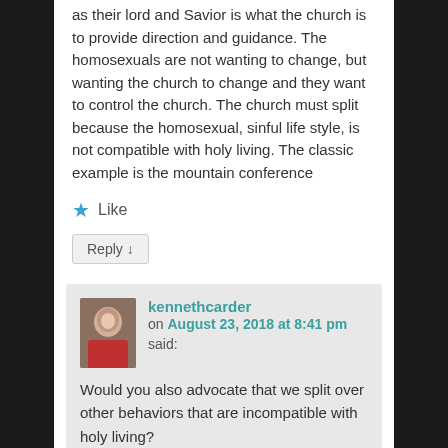as their lord and Savior is what the church is to provide direction and guidance. The homosexuals are not wanting to change, but wanting the church to change and they want to control the church. The church must split because the homosexual, sinful life style, is not compatible with holy living. The classic example is the mountain conference
★ Like
Reply ↓
kennethcarder on August 23, 2018 at 8:41 pm said:
Would you also advocate that we split over other behaviors that are incompatible with holy living?